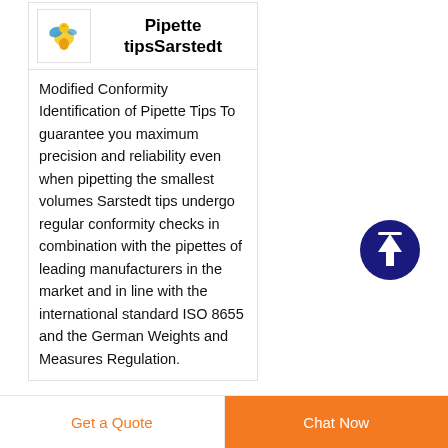[Figure (logo): Small colorful logo of a bird/animal figure with yellow and blue colors]
Pipette tipsSarstedt
Modified Conformity Identification of Pipette Tips To guarantee you maximum precision and reliability even when pipetting the smallest volumes Sarstedt tips undergo regular conformity checks in combination with the pipettes of leading manufacturers in the market and in line with the international standard ISO 8655 and the German Weights and Measures Regulation.
[Figure (illustration): Dark blue circle with white upward arrow icon (scroll-to-top button)]
Get a Quote   Chat Now